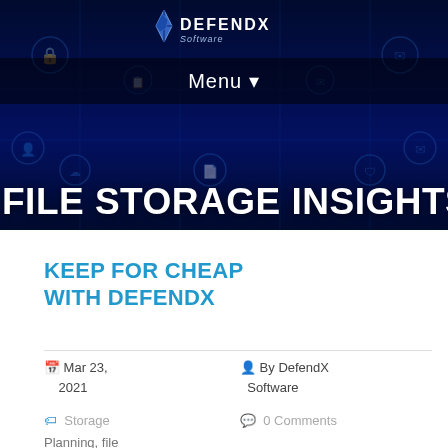DefendX Software — File Storage Insights
[Figure (screenshot): Dark navy blue header banner with DefendX Software logo at top center, Menu navigation bar, scattered technology/security icons on dark background, and large white text 'FILE STORAGE INSIGHTS' at bottom]
KEEP FOR CHEAP WITH DEFENDX
Mar 23, 2021
By DefendX Software
Storage Planning, file
0 Comments